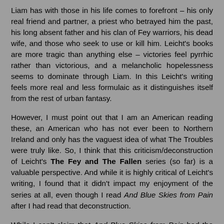Liam has with those in his life comes to forefront – his only real friend and partner, a priest who betrayed him the past, his long absent father and his clan of Fey warriors, his dead wife, and those who seek to use or kill him. Leicht's books are more tragic than anything else – victories feel pyrrhic rather than victorious, and a melancholic hopelessness seems to dominate through Liam. In this Leicht's writing feels more real and less formulaic as it distinguishes itself from the rest of urban fantasy.
However, I must point out that I am an American reading these, an American who has not ever been to Northern Ireland and only has the vaguest idea of what The Troubles were truly like. So, I think that this criticism/deconstruction of Leicht's The Fey and The Fallen series (so far) is a valuable perspective. And while it is highly critical of Leicht's writing, I found that it didn't impact my enjoyment of the series at all, even though I read And Blue Skies from Pain after I had read that deconstruction.
While I can't claim that And Blue Skies from Pain had the same impact that Of Blood and Honey did, it is a powerful